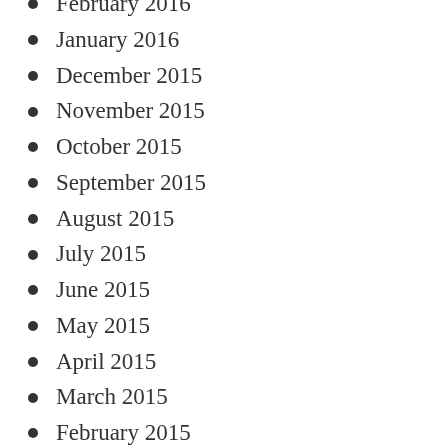February 2016
January 2016
December 2015
November 2015
October 2015
September 2015
August 2015
July 2015
June 2015
May 2015
April 2015
March 2015
February 2015
January 2015
December 2014
November 2014
October 2014